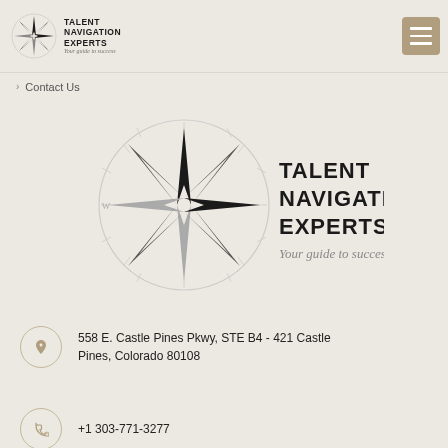Talent Navigation Experts — Your guide to success
> Contact Us
[Figure (logo): Talent Navigation Experts logo — compass rose with company name and tagline 'Your guide to success']
558 E. Castle Pines Pkwy, STE B4 - 421 Castle Pines, Colorado 80108
+1 303-771-3277